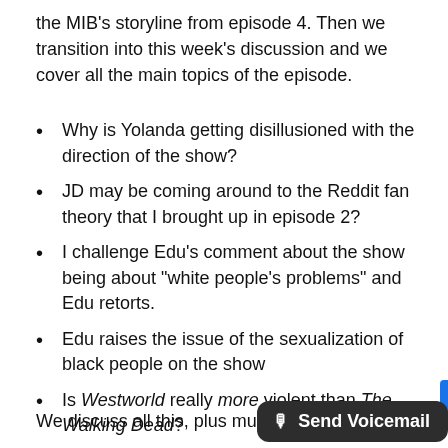the MIB's storyline from episode 4. Then we transition into this week's discussion and we cover all the main topics of the episode.
Why is Yolanda getting disillusioned with the direction of the show?
JD may be coming around to the Reddit fan theory that I brought up in episode 2?
I challenge Edu's comment about the show being about "white people's problems" and Edu retorts.
Edu raises the issue of the sexualization of black people on the show
Is Westworld really more violent than The Walking Dead?
Will Edu ever get Arnold's name right? (Arthur?)
We discuss all this, plus much, mu